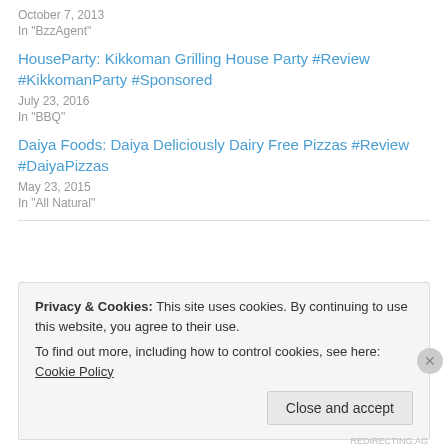October 7, 2013
In "BzzAgent"
HouseParty: Kikkoman Grilling House Party #Review #KikkomanParty #Sponsored
July 23, 2016
In "BBQ"
Daiya Foods: Daiya Deliciously Dairy Free Pizzas #Review #DaiyaPizzas
May 23, 2015
In "All Natural"
Privacy & Cookies: This site uses cookies. By continuing to use this website, you agree to their use.
To find out more, including how to control cookies, see here: Cookie Policy
Close and accept